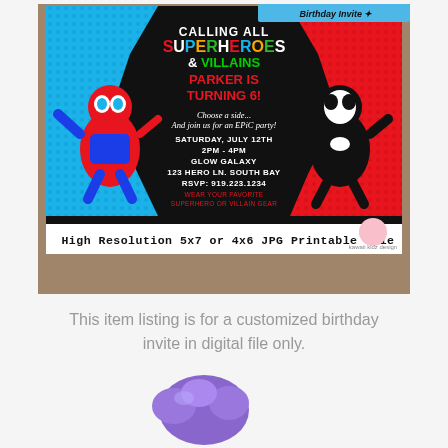[Figure (illustration): Superhero birthday party invitation showing Spider-Man and Venom characters with text: CALLING ALL SUPERHEROES & VILLAINS, PARKER IS TURNING 6!, Choose a side... And join us for an EPIC party!, SATURDAY, JULY 12TH, 2PM - 4PM, GLOW GALAXY, 123 HERO LN. SOUTH BAY, RSVP: 919.223.1234, WEAR YOUR FAVORITE SUPERHERO OR VILLAIN GEAR. Bottom banner reads: High Resolution 5x7 or 4x6 JPG Printable File]
This item listing is for a customized birthday invite in digital file only.
[Figure (photo): Purple balloon or cloud-like object at bottom of page]